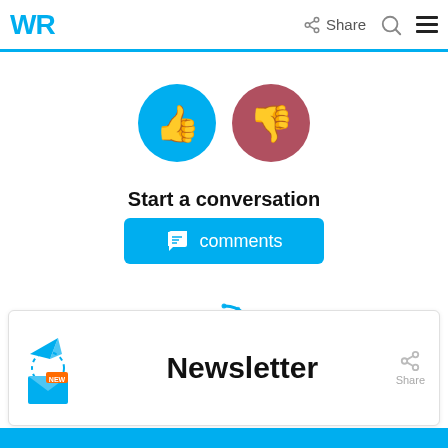WR | Share
[Figure (illustration): Two circular icon buttons: a blue circle with a white thumbs-up icon, and a red/pink circle with a white thumbs-down icon]
Start a conversation
[Figure (illustration): Blue rounded rectangle button with a comment/chat icon and the text 'comments']
[Figure (illustration): A circular loading spinner icon in blue]
[Figure (illustration): Newsletter card with a blue mail/envelope icon with a paper airplane, the word 'Newsletter' in bold, and a share icon]